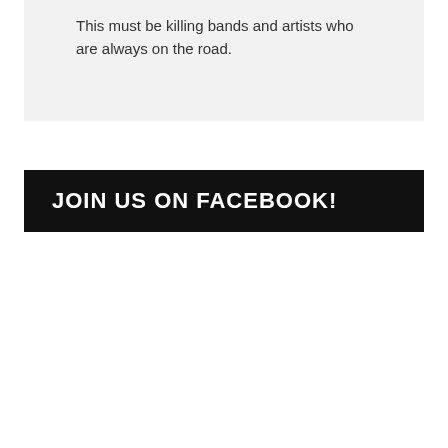This must be killing bands and artists who are always on the road.
JOIN US ON FACEBOOK!